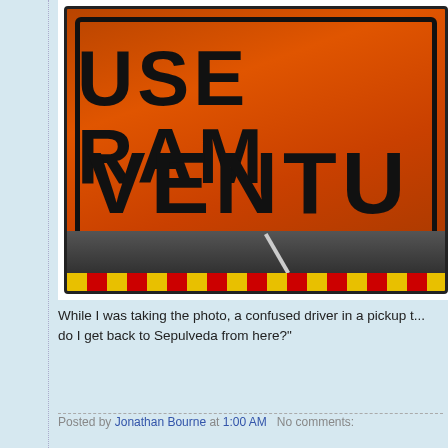[Figure (photo): Close-up photograph of an orange construction/detour road sign showing partial text 'USE RAM' on top line and 'VENTU' on bottom line in large black letters, cropped at right edge. Bottom of sign shows support structure and a diagonal reflective pole element against dark background.]
While I was taking the photo, a confused driver in a pickup t... do I get back to Sepulveda from here?"
Posted by Jonathan Bourne at 1:00 AM   No comments: